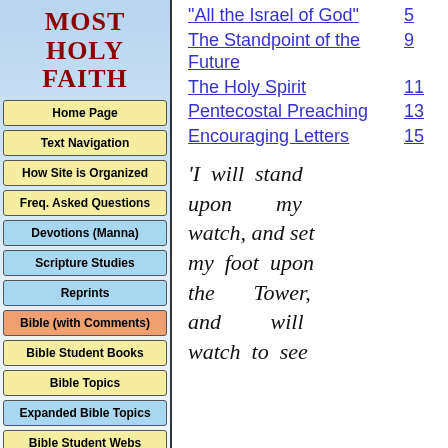MOST HOLY FAITH
Home Page
Text Navigation
How Site is Organized
Freq. Asked Questions
Devotions (Manna)
Scripture Studies
Reprints
Bible (with Comments)
Bible Student Books
Bible Topics
Expanded Bible Topics
Bible Student Webs
Miscellaneous
| Topic | Page |
| --- | --- |
| "All the Israel of God" | 5 |
| The Standpoint of the Future | 9 |
| The Holy Spirit | 11 |
| Pentecostal Preaching | 13 |
| Encouraging Letters | 15 |
'I will stand upon my watch, and set my foot upon the Tower, and will watch to see